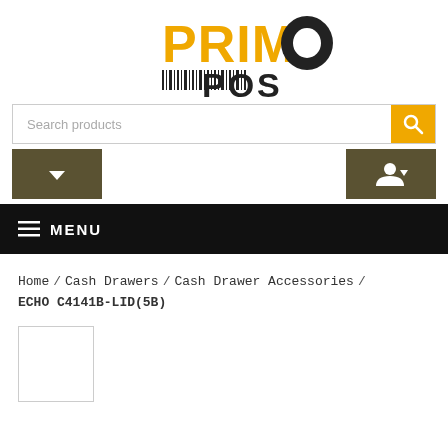[Figure (logo): Primo POS logo with yellow PRIMO text and barcode POS branding]
[Figure (screenshot): Search products input bar with yellow search button]
[Figure (screenshot): Navigation buttons row: left dropdown button and right user account button]
[Figure (screenshot): Black menu bar with hamburger icon and MENU text]
Home / Cash Drawers / Cash Drawer Accessories / ECHO C4141B-LID(5B)
[Figure (other): Product image placeholder box (empty bordered square)]